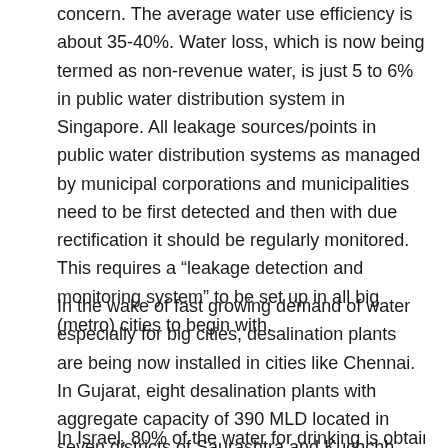concern. The average water use efficiency is about 35-40%. Water loss, which is now being termed as non-revenue water, is just 5 to 6% in public water distribution system in Singapore. All leakage sources/points in public water distribution systems as managed by municipal corporations and municipalities need to be first detected and then with due rectification it should be regularly monitored. This requires a “leakage detection and monitoring system” to be set up in all big (metro) cities to begin with.
In the wake of fast growing demand of water especially for big cities, desalination plants are being now installed in cities like Chennai. In Gujarat, eight desalination plants with aggregate capacity of 390 MLD located in seven districts of Saurashtra and Kuchchh are being set up at the estimated cost of Rs 4,000 crore.
In Israel, 80% of the water for drinking is obtained from